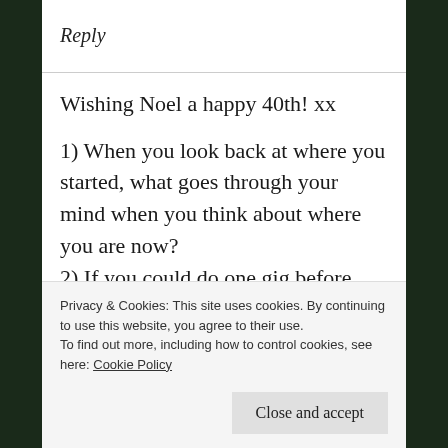Reply
Wishing Noel a happy 40th! xx
1) When you look back at where you started, what goes through your mind when you think about where you are now?
2) If you could do one gig before you die (art or comedy or other), what would it
Privacy & Cookies: This site uses cookies. By continuing to use this website, you agree to their use.
To find out more, including how to control cookies, see here: Cookie Policy
Close and accept